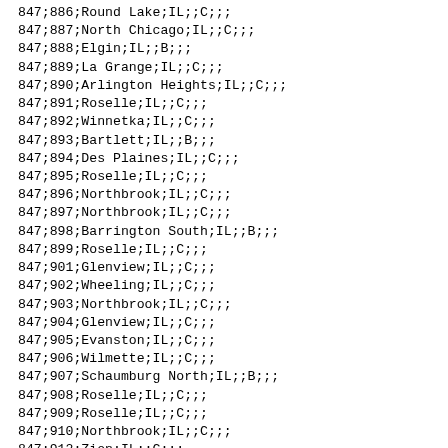847;886;Round Lake;IL;;C;;;
847;887;North Chicago;IL;;C;;;
847;888;Elgin;IL;;B;;;
847;889;La Grange;IL;;C;;;
847;890;Arlington Heights;IL;;C;;;
847;891;Roselle;IL;;C;;;
847;892;Winnetka;IL;;C;;;
847;893;Bartlett;IL;;B;;;
847;894;Des Plaines;IL;;C;;;
847;895;Roselle;IL;;C;;;
847;896;Northbrook;IL;;C;;;
847;897;Northbrook;IL;;C;;;
847;898;Barrington South;IL;;B;;;
847;899;Roselle;IL;;C;;;
847;901;Glenview;IL;;C;;;
847;902;Wheeling;IL;;C;;;
847;903;Northbrook;IL;;C;;;
847;904;Glenview;IL;;C;;;
847;905;Evanston;IL;;C;;;
847;906;Wilmette;IL;;C;;;
847;907;Schaumburg North;IL;;B;;;
847;908;Roselle;IL;;C;;;
847;909;Roselle;IL;;C;;;
847;910;Northbrook;IL;;C;;;
847;912;Zion;IL;;C;;;
847;913;Wheeling;IL;;C;;;
847;914;Deerfield;IL;;C;;;
847;916;River Grove;IL;;C;;;
847;917;Roselle;IL;;C;;;
847;918;Libertyville;IL;;C;;;